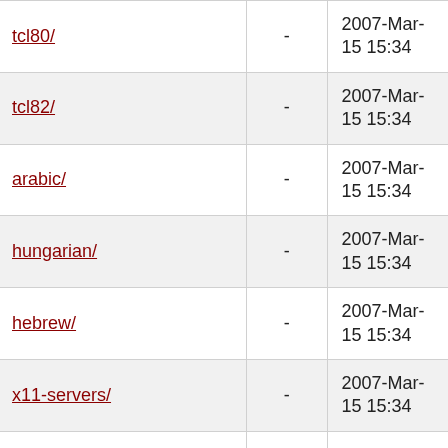| Name | Size | Date |
| --- | --- | --- |
| tcl80/ | - | 2007-Mar-15 15:34 |
| tcl82/ | - | 2007-Mar-15 15:34 |
| arabic/ | - | 2007-Mar-15 15:34 |
| hungarian/ | - | 2007-Mar-15 15:34 |
| hebrew/ | - | 2007-Mar-15 15:34 |
| x11-servers/ | - | 2007-Mar-15 15:34 |
| pear/ | - | 2007-Mar-15 15:34 |
| plan9/ | - | 2007-Mar-15 15:34 |
| ruby/ | - | 2007-Mar-15 15:34 |
| ukrainian/ | - | 2007-Mar-15 15:34 |
| portuguese/ | - | 2007-Mar-15 15:34 |
| tcl83/ | - | 2007-Mar- |